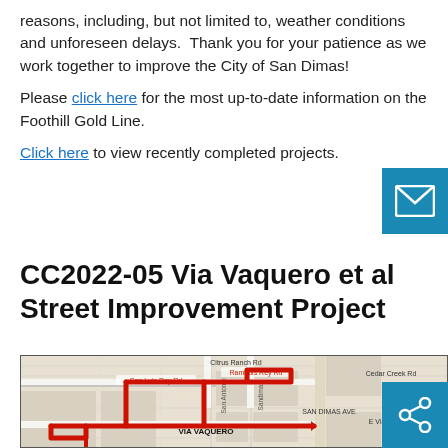reasons, including, but not limited to, weather conditions and unforeseen delays.  Thank you for your patience as we work together to improve the City of San Dimas!
Please click here for the most up-to-date information on the Foothill Gold Line.
Click here to view recently completed projects.
CC2022-05 Via Vaquero et al Street Improvement Project
[Figure (map): Street map showing the CC2022-05 Via Vaquero Street Improvement Project area in San Dimas. Red highlighted route outlines streets near Via Vaquero, San Antonio, Sandimas, and Rambuis Rey Rd. Labels include Citrus Ranch Rd, Cedar Creek Rd, San Dimas Ave, E Via Vaquero, and VIA VAQUERO.]